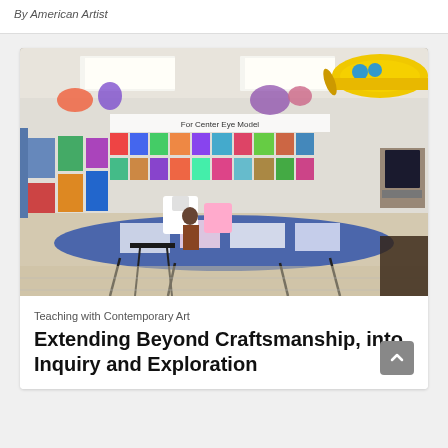By American Artist
[Figure (photo): Wide-angle photo of a colorful elementary school art classroom with student artwork displayed on walls, tables with art projects, and a yellow submarine artwork hanging from the ceiling.]
Teaching with Contemporary Art
Extending Beyond Craftsmanship, into Inquiry and Exploration